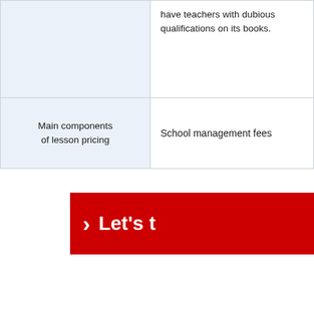|  | have teachers with dubious qualifications on its books. |
| Main components of lesson pricing | School management fees |
[Figure (other): Red banner with white chevron arrow and partial text 'Let's t']